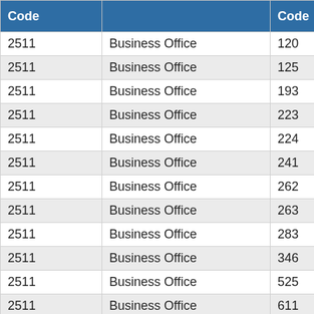| Code |  | Code |
| --- | --- | --- |
| 2511 | Business Office | 120 |
| 2511 | Business Office | 125 |
| 2511 | Business Office | 193 |
| 2511 | Business Office | 223 |
| 2511 | Business Office | 224 |
| 2511 | Business Office | 241 |
| 2511 | Business Office | 262 |
| 2511 | Business Office | 263 |
| 2511 | Business Office | 283 |
| 2511 | Business Office | 346 |
| 2511 | Business Office | 525 |
| 2511 | Business Office | 611 |
| 2511 | Business Office | 619 |